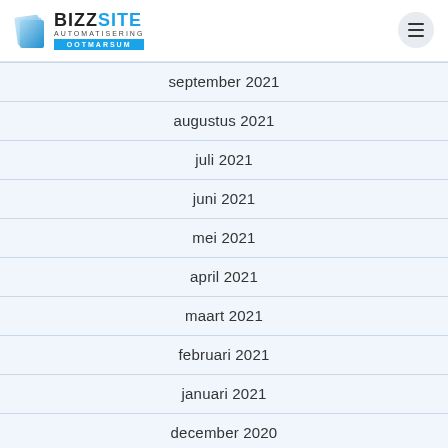BIZZSITE AUTOMATISERING OOTMARSUM
september 2021
augustus 2021
juli 2021
juni 2021
mei 2021
april 2021
maart 2021
februari 2021
januari 2021
december 2020